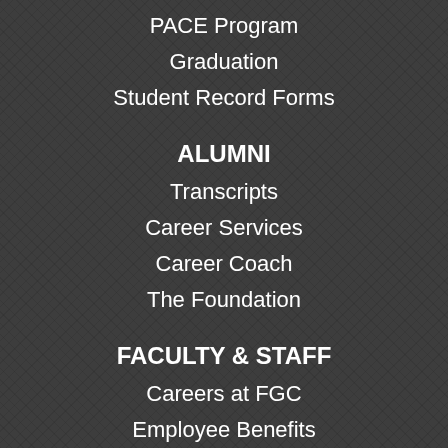PACE Program
Graduation
Student Record Forms
ALUMNI
Transcripts
Career Services
Career Coach
The Foundation
FACULTY & STAFF
Careers at FGC
Employee Benefits